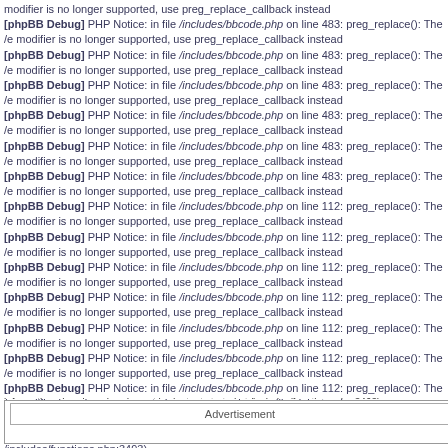modifier is no longer supported, use preg_replace_callback instead
[phpBB Debug] PHP Notice: in file /includes/bbcode.php on line 483: preg_replace(): The /e modifier is no longer supported, use preg_replace_callback instead
[phpBB Debug] PHP Notice: in file /includes/bbcode.php on line 483: preg_replace(): The /e modifier is no longer supported, use preg_replace_callback instead
[phpBB Debug] PHP Notice: in file /includes/bbcode.php on line 483: preg_replace(): The /e modifier is no longer supported, use preg_replace_callback instead
[phpBB Debug] PHP Notice: in file /includes/bbcode.php on line 483: preg_replace(): The /e modifier is no longer supported, use preg_replace_callback instead
[phpBB Debug] PHP Notice: in file /includes/bbcode.php on line 483: preg_replace(): The /e modifier is no longer supported, use preg_replace_callback instead
[phpBB Debug] PHP Notice: in file /includes/bbcode.php on line 483: preg_replace(): The /e modifier is no longer supported, use preg_replace_callback instead
[phpBB Debug] PHP Notice: in file /includes/bbcode.php on line 112: preg_replace(): The /e modifier is no longer supported, use preg_replace_callback instead
[phpBB Debug] PHP Notice: in file /includes/bbcode.php on line 112: preg_replace(): The /e modifier is no longer supported, use preg_replace_callback instead
[phpBB Debug] PHP Notice: in file /includes/bbcode.php on line 112: preg_replace(): The /e modifier is no longer supported, use preg_replace_callback instead
[phpBB Debug] PHP Notice: in file /includes/bbcode.php on line 112: preg_replace(): The /e modifier is no longer supported, use preg_replace_callback instead
[phpBB Debug] PHP Notice: in file /includes/bbcode.php on line 112: preg_replace(): The /e modifier is no longer supported, use preg_replace_callback instead
[phpBB Debug] PHP Notice: in file /includes/bbcode.php on line 112: preg_replace(): The /e modifier is no longer supported, use preg_replace_callback instead
[phpBB Debug] PHP Notice: in file /includes/bbcode.php on line 112: preg_replace(): The /e modifier is no longer supported, use preg_replace_callback instead
[phpBB Debug] PHP Notice: in file /includes/functions.php on line 4284: Cannot modify header information - headers already sent by (output started at /includes/functions.php:3493)
[phpBB Debug] PHP Notice: in file /includes/functions.php on line 4286: Cannot modify header information - headers already sent by (output started at /includes/functions.php:3493)
[phpBB Debug] PHP Notice: in file /includes/functions.php on line 4287: Cannot modify header information - headers already sent by (output started at /includes/functions.php:3493)
[phpBB Debug] PHP Notice: in file /includes/functions.php on line 4288: Cannot modify header information - headers already sent by (output started at /includes/functions.php:3493)
Advertisement